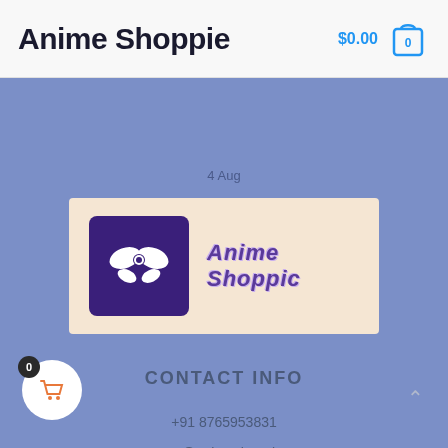Anime Shoppie
$0.00  0
4 Aug
[Figure (logo): Anime Shoppie logo: purple square with white bow ribbon icon on left, stylized 'Anime Shoppie' text on right, on beige background]
CONTACT INFO
+91 8765953831
support@animeshoppie.com
53, Cross Street, India